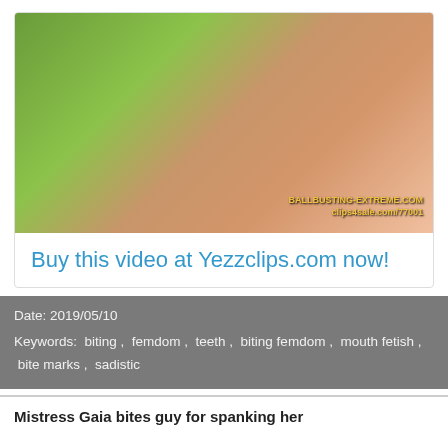[Figure (photo): Thumbnail image of a woman biting with watermark text BALLBUSTING-EXTREME.COM and clips4sale.com/77001]
Buy this video at Yezzclips.com now!
Date: 2019/05/10
Keywords: biting , femdom , teeth , biting femdom , mouth fetish , bite marks , sadistic
Mistress Gaia bites guy for spanking her